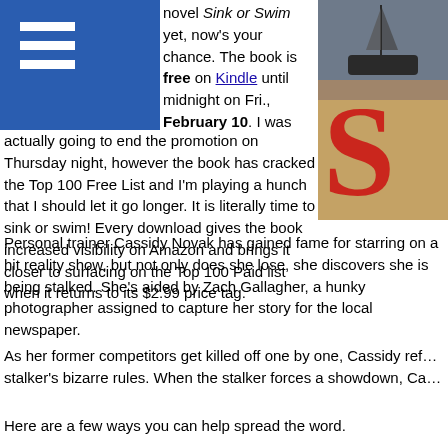[Figure (other): Blue navigation bar with hamburger menu icon (three white horizontal lines)]
[Figure (photo): Book cover image for 'Sink or Swim' showing a ship and large red letter S on brown/sandy background]
novel Sink or Swim yet, now's your chance. The book is free on Kindle until midnight on Fri., February 10. I was actually going to end the promotion on Thursday night, however the book has cracked the Top 100 Free List and I'm playing a hunch that I should let it go longer. It is literally time to sink or swim! Every download gives the book increased visibility on Amazon and brings it closer to surfacing on the Top 100 Paid list when it returns to its $2.99 price tag.
Personal trainer Cassidy Novak has gained fame for starring on a hit reality show, but not only does she lose, she discovers she is being stalked. She's aided by Zach Gallagher, a hunky photographer assigned to capture her story for the local newspaper.
As her former competitors get killed off one by one, Cassidy ref… stalker's bizarre rules. When the stalker forces a showdown, Ca…
Here are a few ways you can help spread the word.